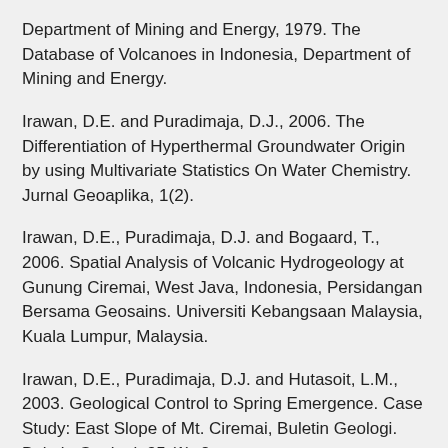Department of Mining and Energy, 1979. The Database of Volcanoes in Indonesia, Department of Mining and Energy.
Irawan, D.E. and Puradimaja, D.J., 2006. The Differentiation of Hyperthermal Groundwater Origin by using Multivariate Statistics On Water Chemistry. Jurnal Geoaplika, 1(2).
Irawan, D.E., Puradimaja, D.J. and Bogaard, T., 2006. Spatial Analysis of Volcanic Hydrogeology at Gunung Ciremai, West Java, Indonesia, Persidangan Bersama Geosains. Universiti Kebangsaan Malaysia, Kuala Lumpur, Malaysia.
Irawan, D.E., Puradimaja, D.J. and Hutasoit, L.M., 2003. Geological Control to Spring Emergence. Case Study: East Slope of Mt. Ciremai, Buletin Geologi. Buletin Geologi, 35 (1): 8.